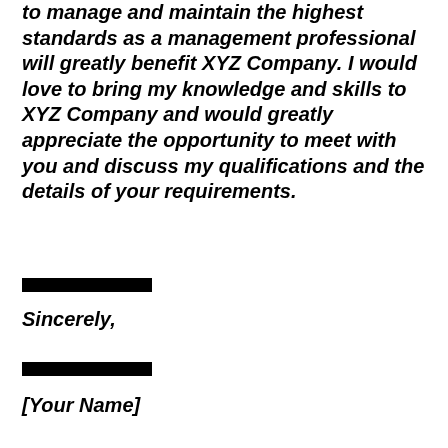to manage and maintain the highest standards as a management professional will greatly benefit XYZ Company. I would love to bring my knowledge and skills to XYZ Company and would greatly appreciate the opportunity to meet with you and discuss my qualifications and the details of your requirements.
Sincerely,
[Your Name]